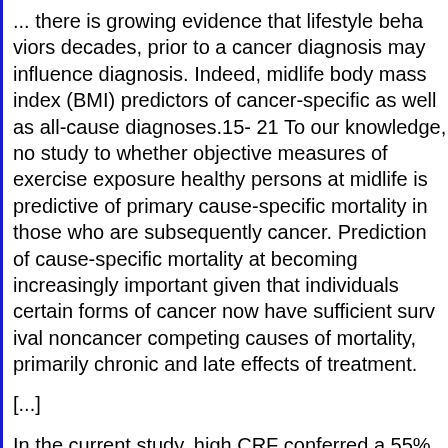... there is growing evidence that lifestyle behaviors decades, prior to a cancer diagnosis may influence diagnosis. Indeed, midlife body mass index (BMI) predictors of cancer-specific as well as all-cause diagnoses.15- 21 To our knowledge, no study to date whether objective measures of exercise exposure in healthy persons at midlife is predictive of primary cause-specific mortality in those who are subsequently cancer. Prediction of cause-specific mortality at cancer is becoming increasingly important given that individuals with certain forms of cancer now have sufficient survival that noncancer competing causes of mortality, primarily chronic and late effects of treatment.
[...]
In the current study, high CRF conferred a 55% reduced risk of lung and colorectal cancer, respectively, ... Every 1-MET increase in CRF was associated with reductions in lung and colorectal cancer risk, results similar to those of the Kuopio Ischemic Heart Disease which found that a 1 MET increase in CRF was...